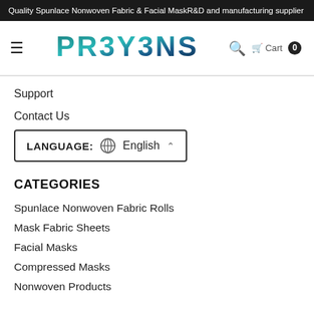Quality Spunlace Nonwoven Fabric & Facial MaskR&D and manufacturing supplier
[Figure (logo): Proyens logo with stylized teal/dark blue lettering, navigation bar with hamburger menu, search icon, and cart (0)]
Support
Contact Us
LANGUAGE: English
CATEGORIES
Spunlace Nonwoven Fabric Rolls
Mask Fabric Sheets
Facial Masks
Compressed Masks
Nonwoven Products